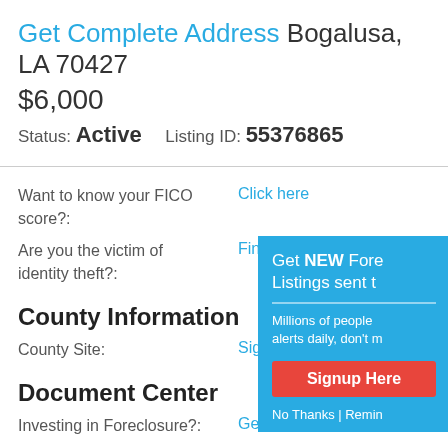Get Complete Address Bogalusa, LA 70427
$6,000
Status: Active    Listing ID: 55376865
Want to know your FICO score?:
Click here
Are you the victim of identity theft?:
Find out
County Information
County Site:
Sign in to view
Document Center
Investing in Foreclosure?:
Get a Title Search
Need forms and contracts?:
Download documents
[Figure (infographic): Popup overlay with teal background: 'Get NEW Fore... Listings sent t...' with subtext about millions of people receiving alerts, a red 'Signup Here' button, and 'No Thanks | Remin...' footer text]